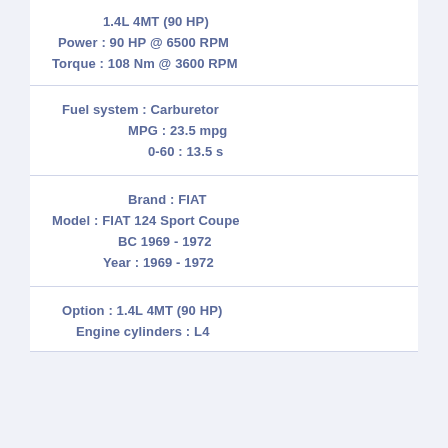1.4L 4MT (90 HP)
Power : 90 HP @ 6500 RPM
Torque : 108 Nm @ 3600 RPM
Fuel system : Carburetor
MPG : 23.5 mpg
0-60 : 13.5 s
Brand : FIAT
Model : FIAT 124 Sport Coupe BC 1969 - 1972
Year : 1969 - 1972
Option : 1.4L 4MT (90 HP)
Engine cylinders : L4